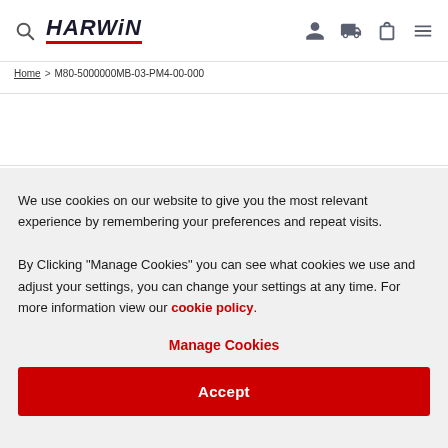HARWIN
Home > M80-5000000MB-03-PM4-00-000
We use cookies on our website to give you the most relevant experience by remembering your preferences and repeat visits. By Clicking "Manage Cookies" you can see what cookies we use and adjust your settings, you can change your settings at any time. For more information view our cookie policy.
Manage Cookies
Accept